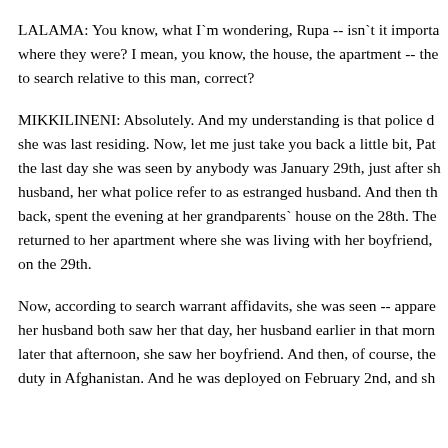LALAMA: You know, what I`m wondering, Rupa -- isn`t it importa where they were? I mean, you know, the house, the apartment -- the to search relative to this man, correct?
MIKKILINENI: Absolutely. And my understanding is that police d she was last residing. Now, let me just take you back a little bit, Pat the last day she was seen by anybody was January 29th, just after sh husband, her what police refer to as estranged husband. And then th back, spent the evening at her grandparents` house on the 28th. The returned to her apartment where she was living with her boyfriend, on the 29th.
Now, according to search warrant affidavits, she was seen -- appare her husband both saw her that day, her husband earlier in that morn later that afternoon, she saw her boyfriend. And then, of course, the duty in Afghanistan. And he was deployed on February 2nd, and sh